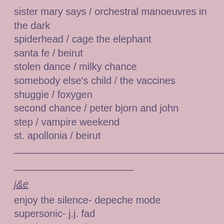sister mary says / orchestral manoeuvres in the dark
spiderhead / cage the elephant
santa fe / beirut
stolen dance / milky chance
somebody else's child / the vaccines
shuggie / foxygen
second chance / peter bjorn and john
step / vampire weekend
st. apollonia / beirut
————————————————————————————
————————————
j&e
enjoy the silence- depeche mode
supersonic- j.j. fad
pet shop eyes- the growlers